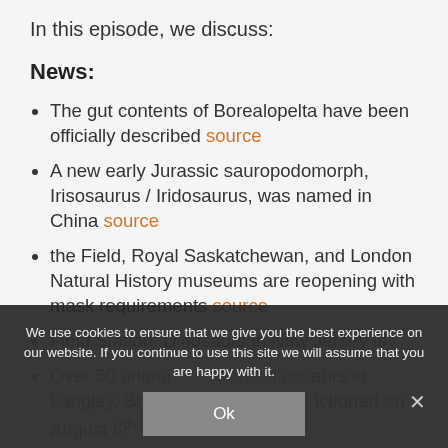In this episode, we discuss:
News:
The gut contents of Borealopelta have been officially described source
A new early Jurassic sauropodomorph, Irisosaurus / Iridosaurus, was named in China source
the Field, Royal Saskatchewan, and London Natural History museums are reopening with mask requirements source
Field Station: Dinosaurs in New Jersey is... wearing masks source
Over 50 animatronic dinosaurs in Langley, British Columbia auctioned on August 6th source
We use cookies to ensure that we give you the best experience on our website. If you continue to use this site we will assume that you are happy with it.